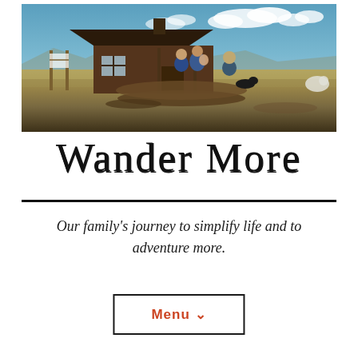[Figure (photo): Family gathered outside a rustic wooden cabin in an open rural landscape under a partly cloudy sky. Several people including adults and children are visible near the cabin entrance, with dogs and logs nearby.]
Wander More
Our family's journey to simplify life and to adventure more.
Menu ∨